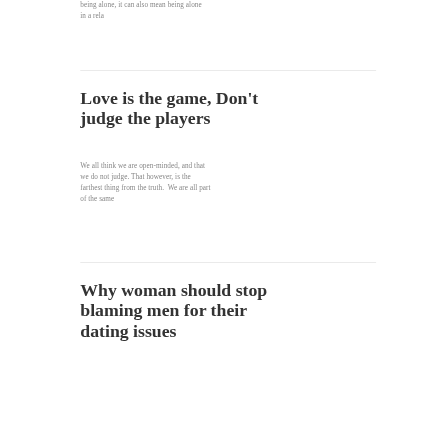being alone, it can also mean being alone in a rela
Love is the game, Don't judge the players
We all think we are open-minded, and that we do not judge. That however, is the farthest thing from the truth.  We are all part of the same
Why woman should stop blaming men for their dating issues